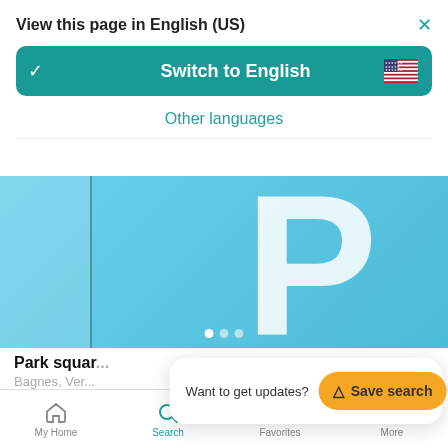View this page in English (US)
Switch to English
Other languages
[Figure (screenshot): A parking-related listing image showing a large light-blue background with a white letter P and a narrow left column, with three dot indicators at the bottom.]
Park squar...
Bagnes, Ver...
Parking place
Want to get updates?
Save search
My Home  Search  Favorites  More